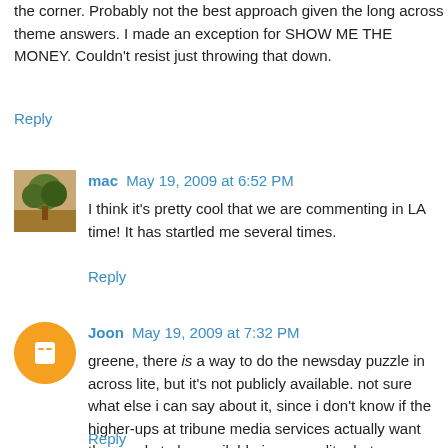the corner. Probably not the best approach given the long across theme answers. I made an exception for SHOW ME THE MONEY. Couldn't resist just throwing that down.
Reply
mac  May 19, 2009 at 6:52 PM
I think it's pretty cool that we are commenting in LA time! It has startled me several times.
Reply
Joon  May 19, 2009 at 7:32 PM
greene, there is a way to do the newsday puzzle in across lite, but it's not publicly available. not sure what else i can say about it, since i don't know if the higher-ups at tribune media services actually want the puzzle to be available in across lite. but my understanding is that there are at least three (maybe exactly three) people who solve the newsday puzzle in across lite.
Reply